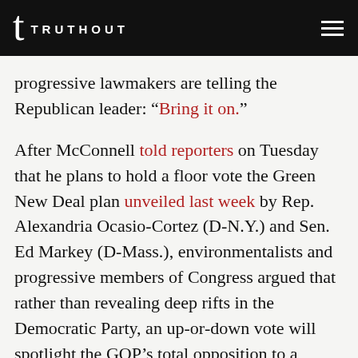TRUTHOUT
progressive lawmakers are telling the Republican leader: “Bring it on.”
After McConnell told reporters on Tuesday that he plans to hold a floor vote the Green New Deal plan unveiled last week by Rep. Alexandria Ocasio-Cortez (D-N.Y.) and Sen. Ed Markey (D-Mass.), environmentalists and progressive members of Congress argued that rather than revealing deep rifts in the Democratic Party, an up-or-down vote will spotlight the GOP’s total opposition to a widely popular policy that